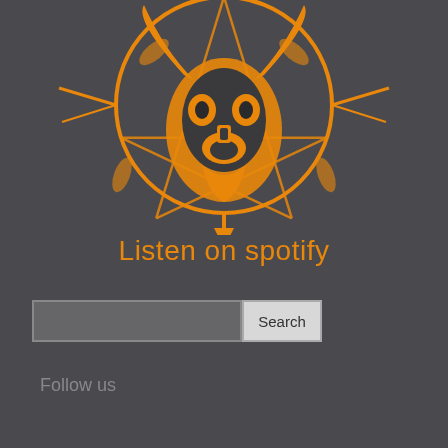[Figure (illustration): Orange ink illustration of a goat skull / demon face with a pentagram star and circular border design on a dark background. Heavy metal / occult style artwork.]
Listen on spotify
[Figure (other): Search input field with a Search button beside it]
Follow us
[Figure (other): Four social media icons in orange: Facebook, Instagram, Twitter, Pinterest]